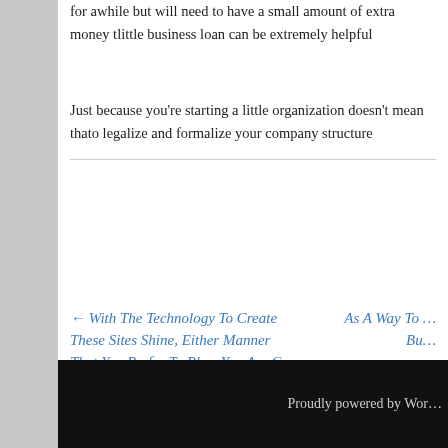for awhile but will need to have a small amount of extra money t… little business loan can be extremely helpful
Just because you're starting a little organization doesn't mean tha… to legalize and formalize your company structure
← With The Technology To Create These Sites Shine, Either Manner That You Prefer To Play, You Are G …
As A Way To … Bu…
Proudly powered by Wor…